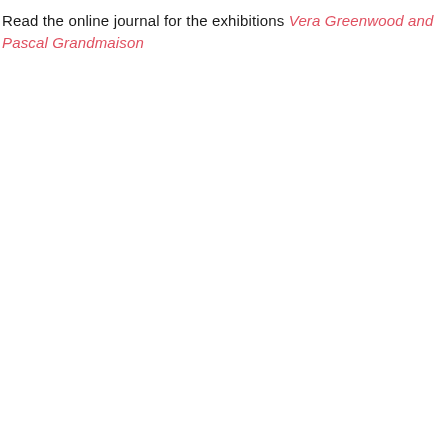Read the online journal for the exhibitions Vera Greenwood and Pascal Grandmaison